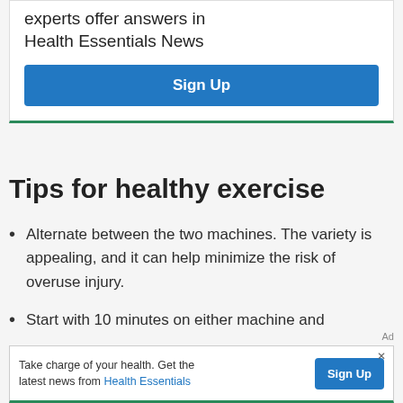experts offer answers in Health Essentials News
Sign Up
Tips for healthy exercise
Alternate between the two machines. The variety is appealing, and it can help minimize the risk of overuse injury.
Start with 10 minutes on either machine and
Ad
Take charge of your health. Get the latest news from Health Essentials  Sign Up